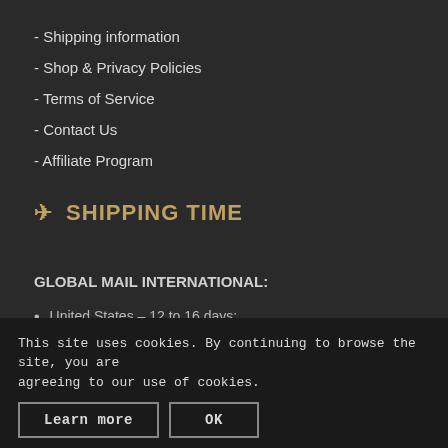- Shipping information
- Shop & Privacy Policies
- Terms of Service
- Contact Us
- Affiliate Program
✈ SHIPPING TIME
GLOBAL MAIL INTERNATIONAL:
United States – 12 to 16 days;
United Kingdom – to 10 days;
Germany – 6 to 10 days;
Other countries of EU - 8...
This site uses cookies. By continuing to browse the site, you are agreeing to our use of cookies.
Learn more  OK